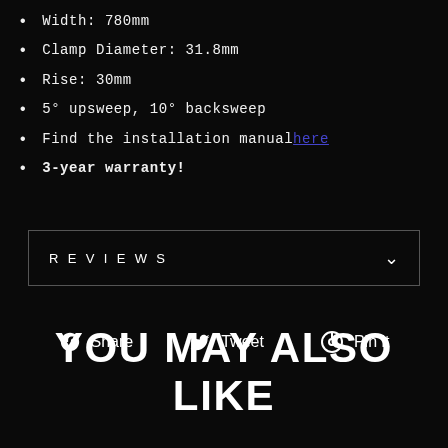Width: 780mm
Clamp Diameter: 31.8mm
Rise: 30mm
5° upsweep, 10° backsweep
Find the installation manual here
3-year warranty!
REVIEWS
Share  Tweet  Pin it
YOU MAY ALSO LIKE